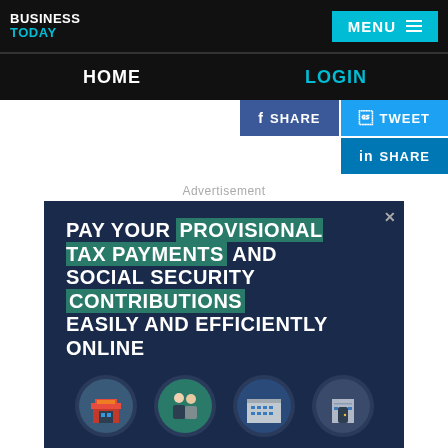BUSINESS TODAY | MENU
HOME | LOGIN
[Figure (screenshot): Social sharing buttons: SHARE (Facebook, blue), TWEET (Twitter, light blue), SHARE (LinkedIn, dark blue)]
Advertisement
[Figure (infographic): Dark navy advertisement banner: 'PAY YOUR PROVISIONAL TAX PAYMENTS AND SOCIAL SECURITY CONTRIBUTIONS EASILY AND EFFICIENTLY ONLINE' with four circular icons depicting a shop, two people, a building, and a doorway.]